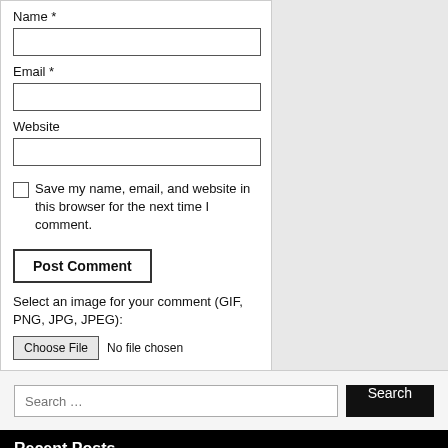Name *
Email *
Website
Save my name, email, and website in this browser for the next time I comment.
Post Comment
Select an image for your comment (GIF, PNG, JPG, JPEG):
Choose File  No file chosen
Search …
Recent Posts